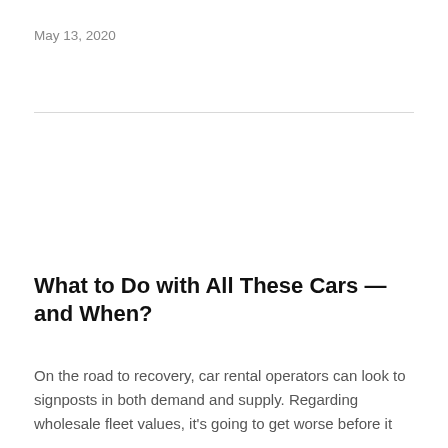May 13, 2020
What to Do with All These Cars — and When?
On the road to recovery, car rental operators can look to signposts in both demand and supply. Regarding wholesale fleet values, it's going to get worse before it